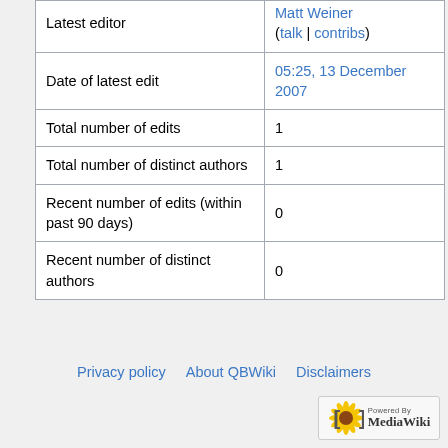| Latest editor | Matt Weiner (talk | contribs) |
| Date of latest edit | 05:25, 13 December 2007 |
| Total number of edits | 1 |
| Total number of distinct authors | 1 |
| Recent number of edits (within past 90 days) | 0 |
| Recent number of distinct authors | 0 |
Privacy policy   About QBWiki   Disclaimers
[Figure (logo): Powered by MediaWiki badge with sunflower logo]